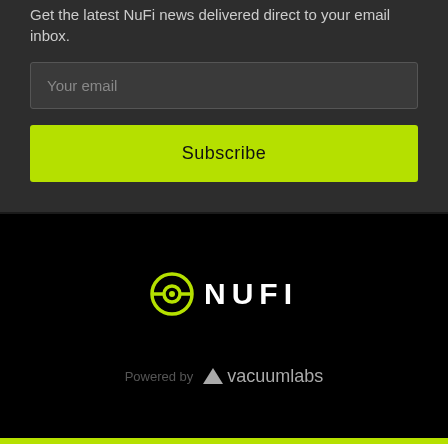Get the latest NuFi news delivered direct to your email inbox.
Your email
Subscribe
[Figure (logo): NuFi logo with circular eye icon in yellow-green and white NUFI text]
Powered by Vacuumlabs